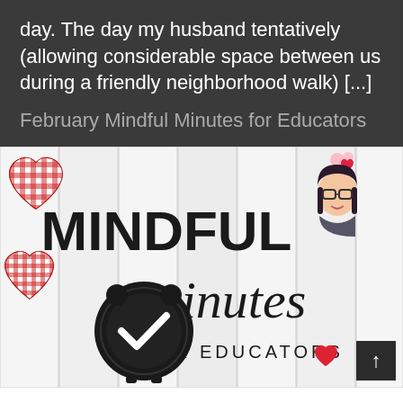day. The day my husband tentatively (allowing considerable space between us during a friendly neighborhood walk) [...]
February Mindful Minutes for Educators
[Figure (illustration): Promotional image for 'Mindful Minutes for Educators' showing red gingham heart decorations, a black alarm clock with checkmark, text 'MINDFUL minutes FOR EDUCATORS', and a cartoon avatar of a woman with glasses and dark hair with a heart thought bubble, all on a white wood plank background.]